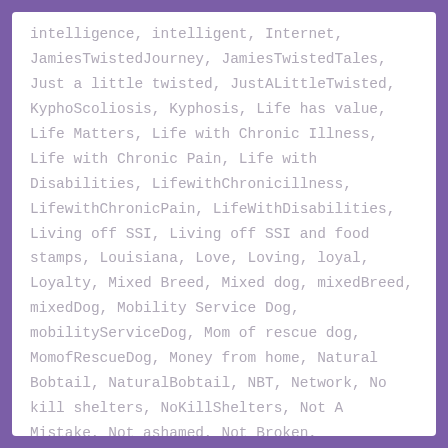intelligence, intelligent, Internet, JamiesTwistedJourney, JamiesTwistedTales, Just a little twisted, JustALittleTwisted, KyphoScoliosis, Kyphosis, Life has value, Life Matters, Life with Chronic Illness, Life with Chronic Pain, Life with Disabilities, LifewithChronicillness, LifewithChronicPain, LifeWithDisabilities, Living off SSI, Living off SSI and food stamps, Louisiana, Love, Loving, loyal, Loyalty, Mixed Breed, Mixed dog, mixedBreed, mixedDog, Mobility Service Dog, mobilityServiceDog, Mom of rescue dog, MomofRescueDog, Money from home, Natural Bobtail, NaturalBobtail, NBT, Network, No kill shelters, NoKillShelters, Not A Mistake, Not ashamed, Not Broken, NotAMistake, NotAshamed, NotBroken